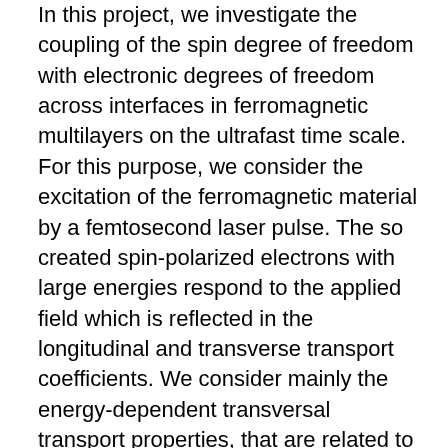In this project, we investigate the coupling of the spin degree of freedom with electronic degrees of freedom across interfaces in ferromagnetic multilayers on the ultrafast time scale. For this purpose, we consider the excitation of the ferromagnetic material by a femtosecond laser pulse. The so created spin-polarized electrons with large energies respond to the applied field which is reflected in the longitudinal and transverse transport coefficients. We consider mainly the energy-dependent transversal transport properties, that are related to the anomalous and the spin Hall effect. In particular, we are interested in the time and spatial dependence of the charge- and spin-current distribution with respect to the interface. On the other hand, we investigate timedependent spin currents that are produced by the spin Hall effect if a THz electric field is applied to the nonmagnetic metal layer. Propagation of this spin current into the